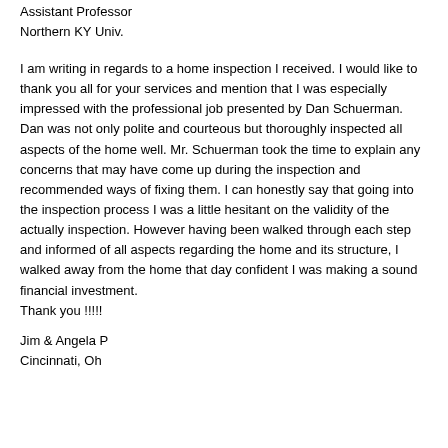Assistant Professor
Northern KY Univ.
I am writing in regards to a home inspection I received. I would like to thank you all for your services and mention that I was especially impressed with the professional job presented by Dan Schuerman. Dan was not only polite and courteous but thoroughly inspected all aspects of the home well. Mr. Schuerman took the time to explain any concerns that may have come up during the inspection and recommended ways of fixing them. I can honestly say that going into the inspection process I was a little hesitant on the validity of the actually inspection. However having been walked through each step and informed of all aspects regarding the home and its structure, I walked away from the home that day confident I was making a sound financial investment.
Thank you !!!!!
Jim & Angela P
Cincinnati, Oh